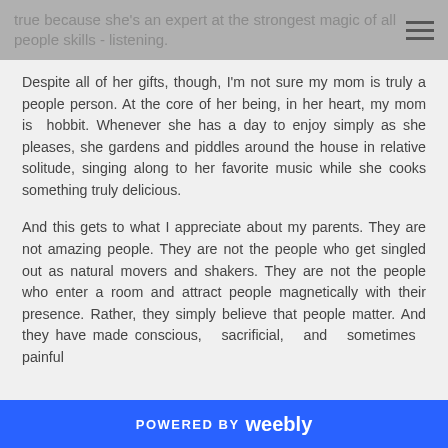true because she's an expert at the strongest magic of all people skills - listening.
Despite all of her gifts, though, I'm not sure my mom is truly a people person. At the core of her being, in her heart, my mom is hobbit. Whenever she has a day to enjoy simply as she pleases, she gardens and piddles around the house in relative solitude, singing along to her favorite music while she cooks something truly delicious.
And this gets to what I appreciate about my parents. They are not amazing people. They are not the people who get singled out as natural movers and shakers. They are not the people who enter a room and attract people magnetically with their presence. Rather, they simply believe that people matter. And they have made conscious, sacrificial, and sometimes painful
POWERED BY weebly